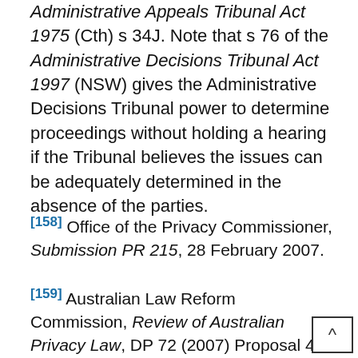Administrative Appeals Tribunal Act 1975 (Cth) s 34J. Note that s 76 of the Administrative Decisions Tribunal Act 1997 (NSW) gives the Administrative Decisions Tribunal power to determine proceedings without holding a hearing if the Tribunal believes the issues can be adequately determined in the absence of the parties.
[158] Office of the Privacy Commissioner, Submission PR 215, 28 February 2007.
[159] Australian Law Reform Commission, Review of Australian Privacy Law, DP 72 (2007) Proposal 45-11.